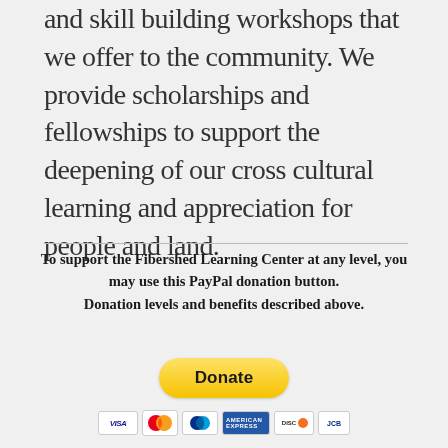and skill building workshops that we offer to the community. We provide scholarships and fellowships to support the deepening of our cross cultural learning and appreciation for people and land.
To support the Fibershed Learning Center at any level, you may use this PayPal donation button. Donation levels and benefits described above.
[Figure (other): PayPal Donate button (yellow rounded rectangle with bold black 'Donate' text) followed by payment method icons: Visa, Mastercard, PayPal, American Express, Discover, JCB]